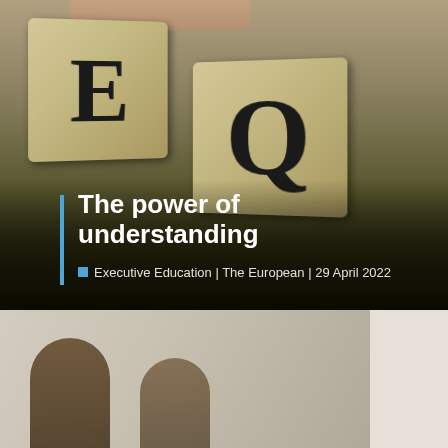[Figure (photo): Hands placing wooden Scrabble-like letter blocks spelling E, I, Q against a dark olive/brown background gradient]
The power of understanding
Executive Education | The European | 29 April 2022
[Figure (photo): Two people in a meeting or discussion, blurred/partial view, with a reCAPTCHA privacy widget overlaid in the bottom right]